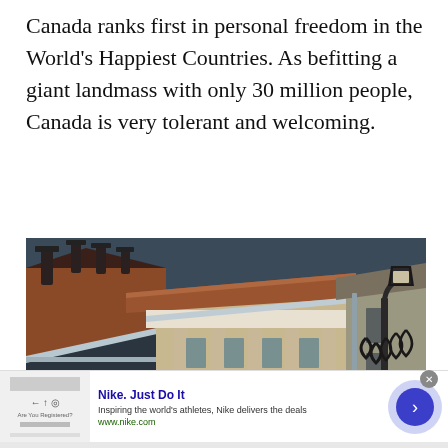Canada ranks first in personal freedom in the World's Happiest Countries. As befitting a giant landmass with only 30 million people, Canada is very tolerant and welcoming.
[Figure (photo): Street-level photograph of historic European-style buildings with terracotta/orange tiled rooftops, ornate facades, white trim, and an ornate iron street lamp in the foreground.]
Nike. Just Do It
Inspiring the world's athletes, Nike delivers the deals
www.nike.com